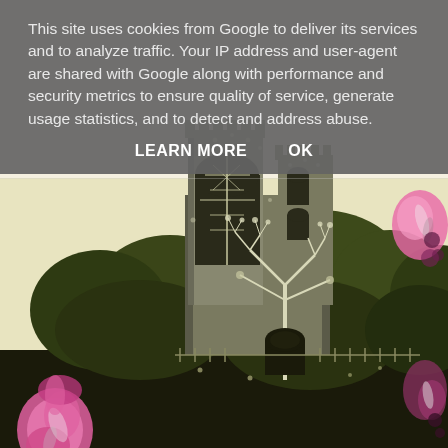[Figure (illustration): A vintage illustration of a Gothic cathedral or church surrounded by lush green trees. The tall stone building features large ornate Gothic windows with tracery, battlemented towers, and is set amid dense foliage. A bare white tree is in the foreground. Pink flower/ribbon decorative elements appear on the left and right edges of the page. The image is rendered in muted olive-green, cream, and dark tones.]
This site uses cookies from Google to deliver its services and to analyze traffic. Your IP address and user-agent are shared with Google along with performance and security metrics to ensure quality of service, generate usage statistics, and to detect and address abuse.
LEARN MORE    OK